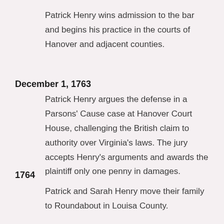Patrick Henry wins admission to the bar and begins his practice in the courts of Hanover and adjacent counties.
December 1, 1763
Patrick Henry argues the defense in a Parsons' Cause case at Hanover Court House, challenging the British claim to authority over Virginia's laws. The jury accepts Henry's arguments and awards the plaintiff only one penny in damages.
1764
Patrick and Sarah Henry move their family to Roundabout in Louisa County.